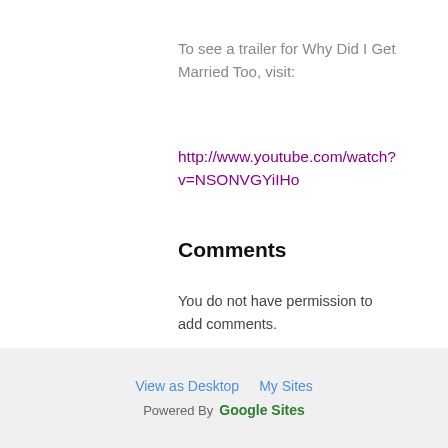To see a trailer for Why Did I Get Married Too, visit:
http://www.youtube.com/watch?v=NSONVGYiIHo
Comments
You do not have permission to add comments.
View as Desktop   My Sites   Powered By  Google Sites